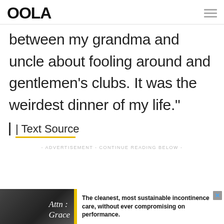OOLA
between my grandma and uncle about fooling around and gentlemen's clubs. It was the weirdest dinner of my life."
| Text Source
- ADVERTISEMENT - CONTINUE READING BELOW -
[Figure (other): Advertisement banner for Attn: Grace incontinence care product. Shows a person image on left, yellow accent bar, and text: The cleanest, most sustainable incontinence care, without ever compromising on performance.]